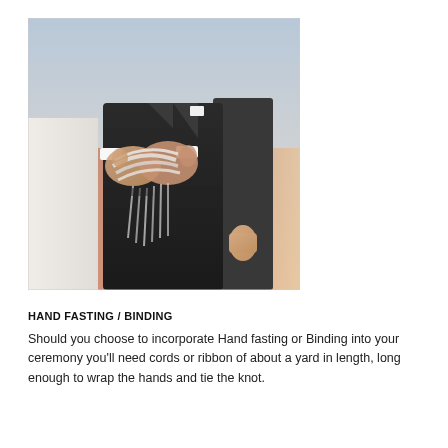[Figure (photo): A wedding handfasting ceremony photo showing two people's hands bound together with white/pearl cords or ribbon, with a person in a dark suit visible in the background.]
HAND FASTING / BINDING
Should you choose to incorporate Hand fasting or Binding into your ceremony you'll need cords or ribbon of about a yard in length, long enough to wrap the hands and tie the knot.